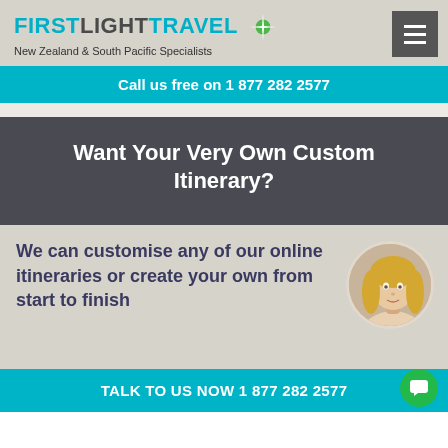FIRSTLIGHTTRAVEL New Zealand & South Pacific Specialists
Call us free on 1 877 282 2577
Want Your Very Own Custom Itinerary?
We can customise any of our online itineraries or create your own from start to finish
[Figure (photo): Circular portrait photo of a blonde woman travel consultant]
TALK TO US NOW 1 877 282 2577